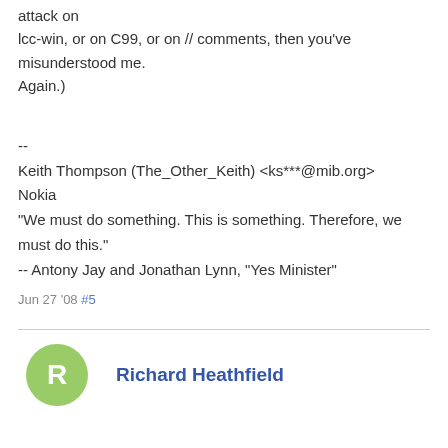attack on lcc-win, or on C99, or on // comments, then you've misunderstood me. Again.)
--
Keith Thompson (The_Other_Keith) <ks***@mib.org>
Nokia
"We must do something. This is something. Therefore, we must do this."
-- Antony Jay and Jonathan Lynn, "Yes Minister"
Jun 27 '08 #5
Richard Heathfield